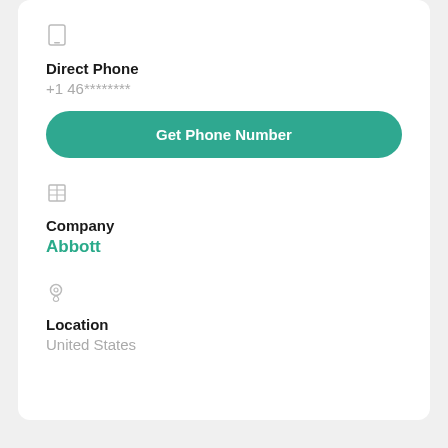Direct Phone
+1 46********
Get Phone Number
Company
Abbott
Location
United States